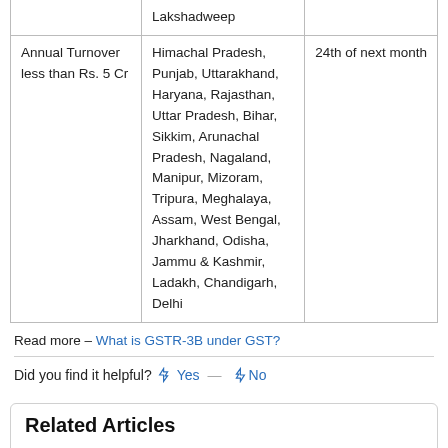|  |  |  |
| --- | --- | --- |
|  | Lakshadweep |  |
| Annual Turnover less than Rs. 5 Cr | Himachal Pradesh, Punjab, Uttarakhand, Haryana, Rajasthan, Uttar Pradesh, Bihar, Sikkim, Arunachal Pradesh, Nagaland, Manipur, Mizoram, Tripura, Meghalaya, Assam, West Bengal, Jharkhand, Odisha, Jammu & Kashmir, Ladakh, Chandigarh, Delhi | 24th of next month |
Read more – What is GSTR-3B under GST?
Did you find it helpful? Yes No
Related Articles
Should I file a GSTR-3B if there are no transactions?